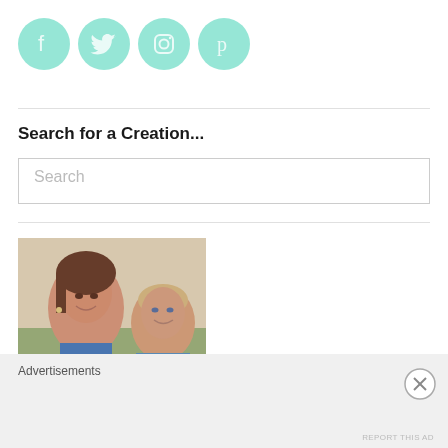[Figure (other): Four teal circular social media icons: Facebook (f), Twitter (bird), Instagram (camera), Pinterest (p)]
Search for a Creation...
[Figure (screenshot): Search input box with placeholder text 'Search']
[Figure (photo): Photo of a smiling woman with a young toddler boy outdoors, watermarked stock photo]
Advertisements